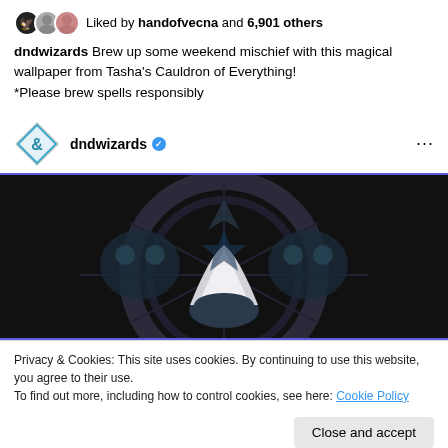Liked by handofvecna and 6,901 others
dndwizards Brew up some weekend mischief with this magical wallpaper from Tasha's Cauldron of Everything!
*Please brew spells responsibly
dndwizards ✓ ...
[Figure (illustration): Dark fantasy illustration with cauldron and magical symmetrical creatures on dark background with purple border]
Privacy & Cookies: This site uses cookies. By continuing to use this website, you agree to their use.
To find out more, including how to control cookies, see here: Cookie Policy
Close and accept
[Figure (illustration): Bottom strip of dark fantasy illustration]